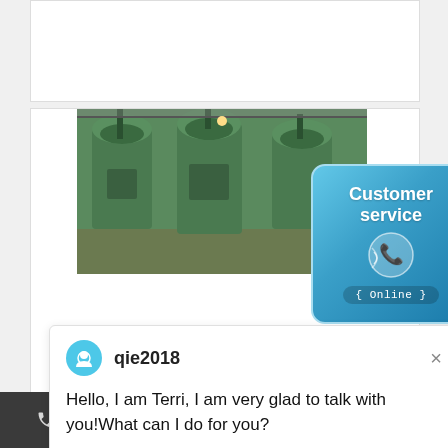[Figure (screenshot): White top card area of a webpage]
[Figure (photo): Industrial green oil press machines in a factory]
[Figure (infographic): Customer service widget with phone icon and Online label on blue gradient background]
[Figure (screenshot): Chat popup with user qie2018 avatar and greeting message]
qie2018
Hello, I am Terri, I am very glad to talk with you!What can I do for you?
[Figure (photo): Industrial green machine lower portion photo]
1
SCHEME OF CREDIT LINKED CAPITAL SUBSIDY
Phone  Email  Whatsapp